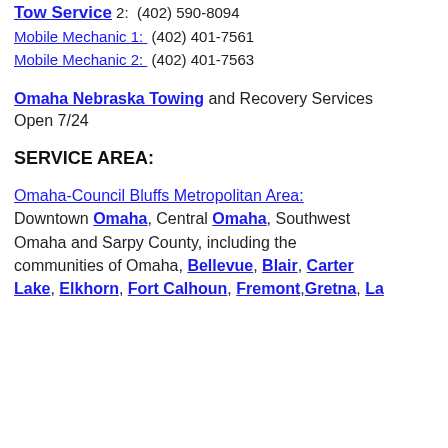Tow Service 1:  (402) 401-7364
Tow Service 2:  (402) 590-8094
Mobile Mechanic 1:  (402) 401-7561
Mobile Mechanic 2:  (402) 401-7563
Omaha Nebraska Towing and Recovery Services
Open 7/24
SERVICE AREA:
Omaha-Council Bluffs Metropolitan Area:
Downtown Omaha, Central Omaha, Southwest Omaha and Sarpy County, including the communities of Omaha, Bellevue, Blair, Carter Lake, Elkhorn, Fort Calhoun, Fremont, Gretna, La